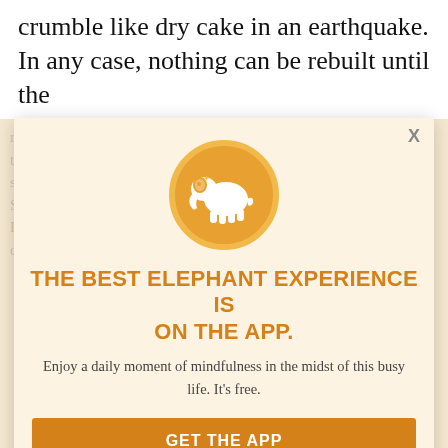crumble like dry cake in an earthquake. In any case, nothing can be rebuilt until the
rubble is removed, and it is estimated that it will cost $14 billion and take three years to clear and then to rebuild the homes, schools, and streets of Port-au-Prince. But be rebuilt, straddling fault lines? Seismologists say the earthquakes in the same zone. Th the U.S., France, and the UN ll agree that it decentralize power away from the devastated capital. There is a growing contradict-
[Figure (logo): Orange circle with white elephant silhouette logo]
THE BEST ELEPHANT EXPERIENCE IS ON THE APP.
Enjoy a daily moment of mindfulness in the midst of this busy life. It's free.
GET THE APP
OPEN IN APP